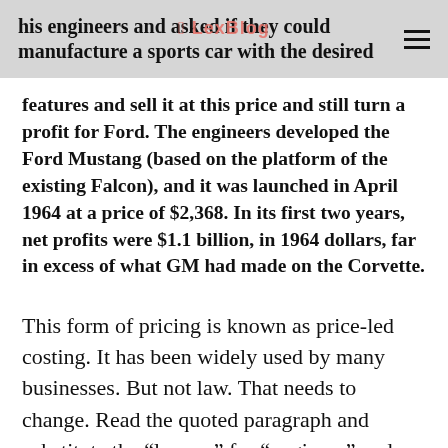his engineers and asked if they could manufacture a sports car with the desired
features and sell it at this price and still turn a profit for Ford. The engineers developed the Ford Mustang (based on the platform of the existing Falcon), and it was launched in April 1964 at a price of $2,368. In its first two years, net profits were $1.1 billion, in 1964 dollars, far in excess of what GM had made on the Corvette.
This form of pricing is known as price-led costing. It has been widely used by many businesses. But not law. That needs to change. Read the quoted paragraph and substitute the “lawyer” for “engineer” and “handle a matter” for “develop a sports car.” There is the germ of